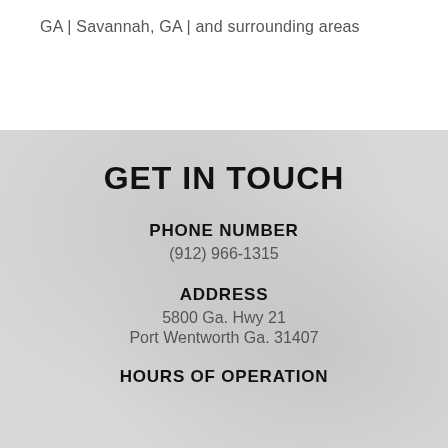GA | Savannah, GA | and surrounding areas
GET IN TOUCH
PHONE NUMBER
(912) 966-1315
ADDRESS
5800 Ga. Hwy 21
Port Wentworth Ga. 31407
HOURS OF OPERATION